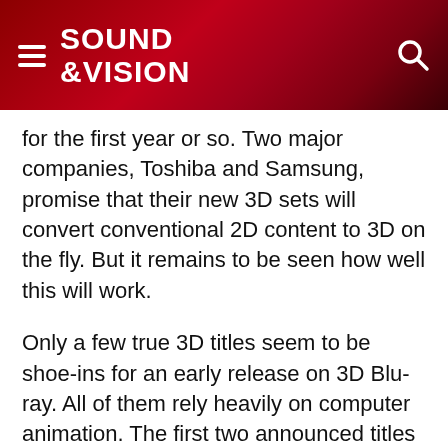SOUND &VISION
for the first year or so. Two major companies, Toshiba and Samsung, promise that their new 3D sets will convert conventional 2D content to 3D on the fly. But it remains to be seen how well this will work.
Only a few true 3D titles seem to be shoe-ins for an early release on 3D Blu-ray. All of them rely heavily on computer animation. The first two announced titles are Disney's A Christmas Carol and Sony's Cloudy with a Chance of Meatballs, both due later this year. The killer app for the format, of course, will be the eventual 3D release of Avatar. Personally, I'm holding out for Bwana Devil, but if you understand that reference, you're either older than dirt or already